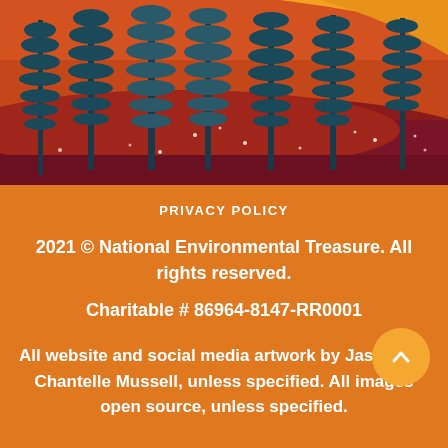[Figure (illustration): Stylized forest illustration with tall dark teal pine/fern trees against layered landscape in burgundy, rust-red, and orange tones with small white star/light dots scattered throughout. Orange sky with curved golden band in upper right.]
PRIVACY POLICY
2021 © National Environmental Treasure. All rights reserved.
Charitable # 86964-8147-RR0001
All website and social media artwork by Jason and Chantelle Mussell, unless specified. All images open source, unless specified.